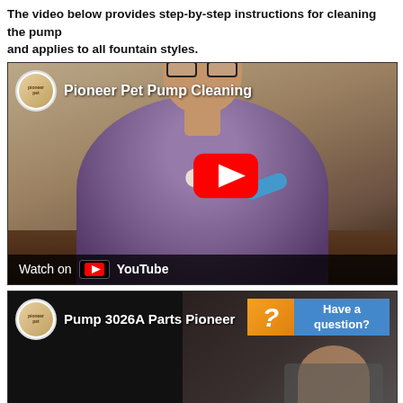The video below provides step-by-step instructions for cleaning the pump and applies to all fountain styles.
[Figure (screenshot): YouTube video thumbnail showing a woman in a purple shirt holding pump parts at a desk, with the title 'Pioneer Pet Pump Cleaning' and a red YouTube play button overlay. A 'Watch on YouTube' bar appears at the bottom.]
[Figure (screenshot): YouTube video thumbnail showing 'Pump 3026A Parts Pioneer' with a dark background, a 'Have a question?' overlay box in orange and blue, and a partial view of a person.]